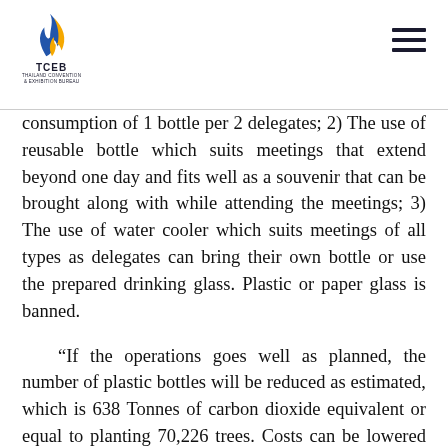TCEB — Thailand Convention & Exhibition Bureau
consumption of 1 bottle per 2 delegates; 2) The use of reusable bottle which suits meetings that extend beyond one day and fits well as a souvenir that can be brought along with while attending the meetings; 3) The use of water cooler which suits meetings of all types as delegates can bring their own bottle or use the prepared drinking glass. Plastic or paper glass is banned.
“If the operations goes well as planned, the number of plastic bottles will be reduced as estimated, which is 638 Tonnes of carbon dioxide equivalent or equal to planting 70,226 trees. Costs can be lowered by 30,000,000 baht. TCEB is confident that this collaboration is another milestone of unification towards bringing Thai MICE towards sustainability and enabling Thai MICE to meet the standards and recognition as